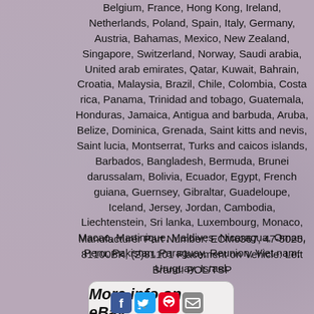Belgium, France, Hong Kong, Ireland, Netherlands, Poland, Spain, Italy, Germany, Austria, Bahamas, Mexico, New Zealand, Singapore, Switzerland, Norway, Saudi arabia, United arab emirates, Qatar, Kuwait, Bahrain, Croatia, Malaysia, Brazil, Chile, Colombia, Costa rica, Panama, Trinidad and tobago, Guatemala, Honduras, Jamaica, Antigua and barbuda, Aruba, Belize, Dominica, Grenada, Saint kitts and nevis, Saint lucia, Montserrat, Turks and caicos islands, Barbados, Bangladesh, Bermuda, Brunei darussalam, Bolivia, Ecuador, Egypt, French guiana, Guernsey, Gibraltar, Guadeloupe, Iceland, Jersey, Jordan, Cambodia, Liechtenstein, Sri lanka, Luxembourg, Monaco, Macao, Martinique, Maldives, Nicaragua, Oman, Peru, Pakistan, Paraguay, Reunion, Viet nam, Uruguay, Israel.
Manufacturer Part Number: ECM6367, 47-5025, 81100BK, (2)81101 Placement on Vehicle: Left Brand: POL/TSP
[Figure (other): Button with text 'More info on eBay...' in italic handwritten style, light gray rounded rectangle background]
[Figure (other): Social media share icons: Facebook (blue), Twitter (light blue), Pinterest (red), Email (gray)]